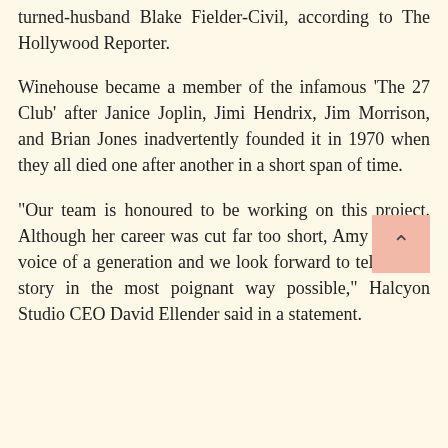turned-husband Blake Fielder-Civil, according to The Hollywood Reporter.
Winehouse became a member of the infamous 'The 27 Club' after Janice Joplin, Jimi Hendrix, Jim Morrison, and Brian Jones inadvertently founded it in 1970 when they all died one after another in a short span of time.
"Our team is honoured to be working on this project. Although her career was cut far too short, Amy was the voice of a generation and we look forward to telling her story in the most poignant way possible," Halcyon Studio CEO David Ellender said in a statement.